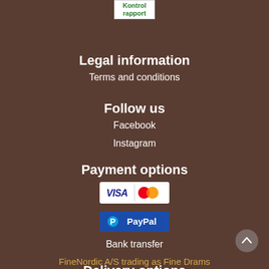[Figure (logo): Kontrol rapport green text logo on white background]
Legal information
Terms and conditions
Follow us
Facebook
Instagram
Payment options
[Figure (logo): VISA and MasterCard logos side by side on white background]
[Figure (logo): PayPal logo on blue background]
Bank transfer
Delivery options
[Figure (logo): DHL logo on yellow background]
FineNordic A/S trading as Fine Drams